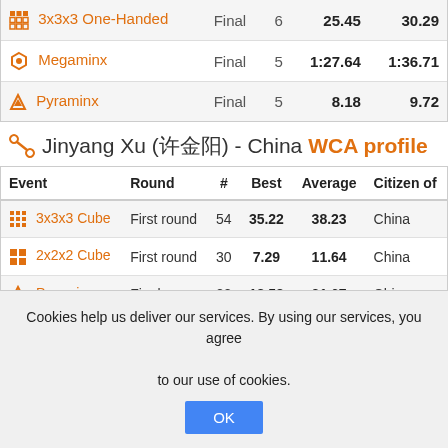| Event | Round | # | Best | Average |
| --- | --- | --- | --- | --- |
| 3x3x3 One-Handed | Final | 6 | 25.45 | 30.29 |
| Megaminx | Final | 5 | 1:27.64 | 1:36.71 |
| Pyraminx | Final | 5 | 8.18 | 9.72 |
Jinyang Xu (许金阳) - China WCA profile
| Event | Round | # | Best | Average | Citizen of |
| --- | --- | --- | --- | --- | --- |
| 3x3x3 Cube | First round | 54 | 35.22 | 38.23 | China |
| 2x2x2 Cube | First round | 30 | 7.29 | 11.64 | China |
| Pyraminx | Final | 22 | 18.58 | 21.67 | China |
Jiulong Xue (薛久龙) - China WCA profile
Cookies help us deliver our services. By using our services, you agree to our use of cookies.